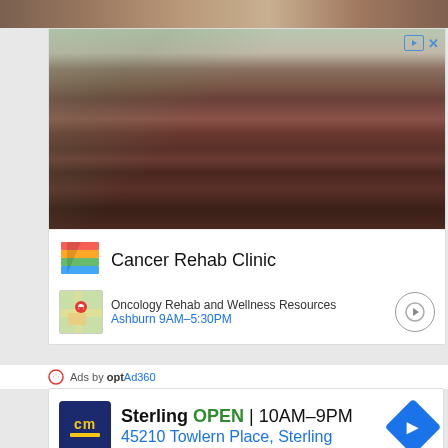[Figure (photo): Top strip showing clinic/medical treatment beds from a photo above]
[Figure (photo): Interior photo of a cancer rehab clinic showing multiple dark red/maroon padded treatment tables arranged in a row, black office chairs, windows with blinds, and medical equipment on side tables]
Cancer Rehab Clinic
Oncology Rehab and Wellness Resources
Ashburn 9AM–5:30PM
Ads by optAd360
Sterling OPEN | 10AM–9PM
45210 Towlern Place, Sterling